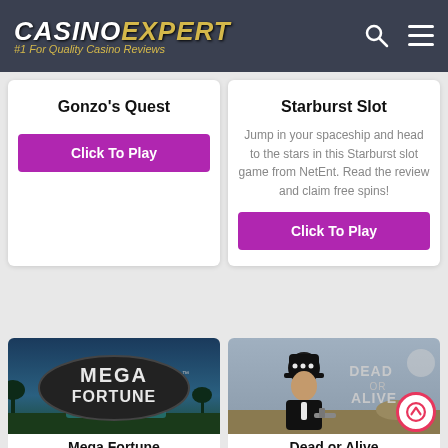Casino Expert #1 For Quality Casino Reviews
Gonzo's Quest
Click To Play
Starburst Slot
Jump in your spaceship and head to the stars in this Starburst slot game from NetEnt. Read the review and claim free spins!
Click To Play
[Figure (screenshot): Mega Fortune slot game thumbnail with logo on dark background with palm trees]
Mega Fortune
[Figure (screenshot): Dead or Alive slot game thumbnail with cowboy character]
Dead or Alive